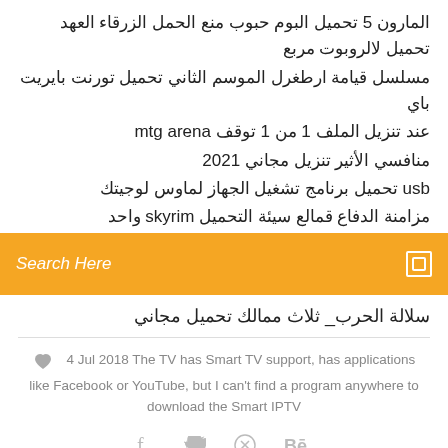المارون 5 تحميل البوم حبوب منع الحمل الزرقاء العهد تحميل لالروبوت مربع
مسلسل قيامة ارطغرل الموسم الثاني تحميل تورنت بايريت باي
عند تنزيل الملف 1 من 1 توقف mtg arena
منافسي الأثير تنزيل مجاني 2021
usb تحميل برنامج تشغيل الجهاز لماوس لوجيتك
مزامنة الدفاع قمالع سيئة التحميل skyrim واحد
Search Here
سلالة الحرب_ ثلاث ممالك تحميل مجاني
4 Jul 2018 The TV has Smart TV support, has applications like Facebook or YouTube, but I can't find a program anywhere to download the Smart IPTV